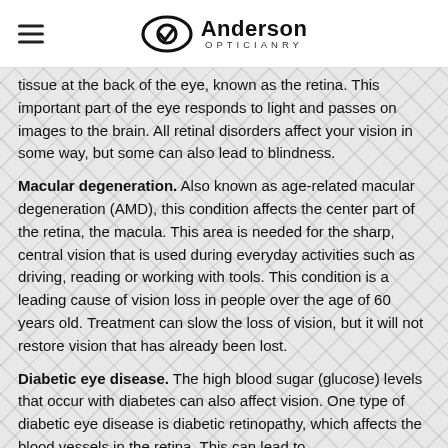Anderson Opticianry
tissue at the back of the eye, known as the retina. This important part of the eye responds to light and passes on images to the brain. All retinal disorders affect your vision in some way, but some can also lead to blindness.
Macular degeneration. Also known as age-related macular degeneration (AMD), this condition affects the center part of the retina, the macula. This area is needed for the sharp, central vision that is used during everyday activities such as driving, reading or working with tools. This condition is a leading cause of vision loss in people over the age of 60 years old. Treatment can slow the loss of vision, but it will not restore vision that has already been lost.
Diabetic eye disease. The high blood sugar (glucose) levels that occur with diabetes can also affect vision. One type of diabetic eye disease is diabetic retinopathy, which affects the blood vessels in the retina. This can lead to